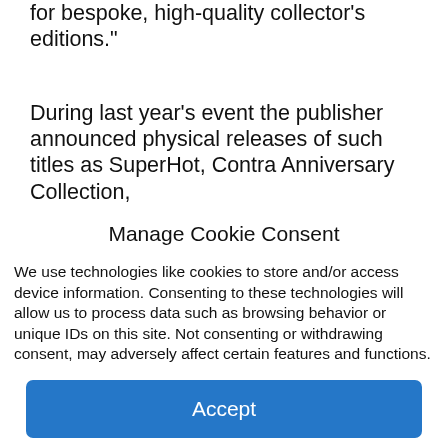for bespoke, high-quality collector's editions.”
During last year’s event the publisher announced physical releases of such titles as SuperHot, Contra Anniversary Collection,
Manage Cookie Consent
We use technologies like cookies to store and/or access device information. Consenting to these technologies will allow us to process data such as browsing behavior or unique IDs on this site. Not consenting or withdrawing consent, may adversely affect certain features and functions.
Accept
Cookie Policy